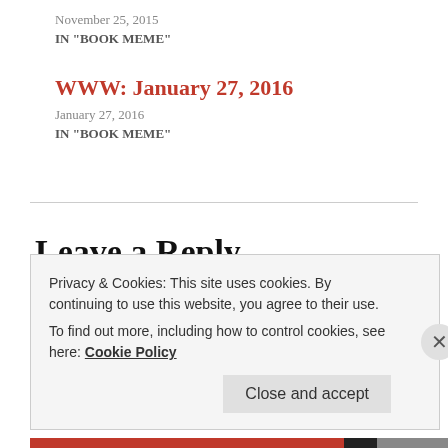November 25, 2015
IN "BOOK MEME"
WWW: January 27, 2016
January 27, 2016
IN "BOOK MEME"
Leave a Reply
Privacy & Cookies: This site uses cookies. By continuing to use this website, you agree to their use.
To find out more, including how to control cookies, see here: Cookie Policy